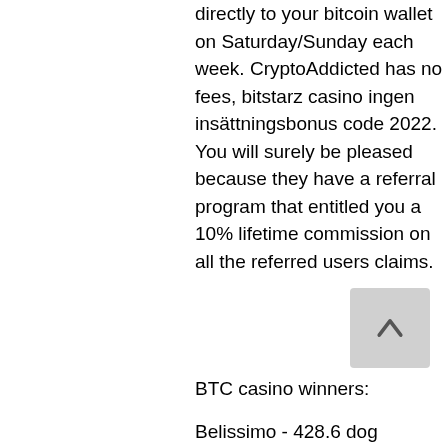directly to your bitcoin wallet on Saturday/Sunday each week. CryptoAddicted has no fees, bitstarz casino ingen insättningsbonus code 2022. You will surely be pleased because they have a referral program that entitled you a 10% lifetime commission on all the referred users claims.
BTC casino winners:
Belissimo - 428.6 dog
Robinson - 742.5 dog
Firestorm - 749 btc
Dolphin Cash - 55.4 ltc
Witch Pickings - 431.8 bch
Revolution - 48.3 ltc
The Epic Journey - 326.9 ltc
Bar Bar Blacksheep - 683.6 btc
Phantom Thief - 586.4 dog
Lucky Coin - 39.4 btc
Magic Crystals - 193.8 usdt
Great Queen Bee - 360.8 usdt